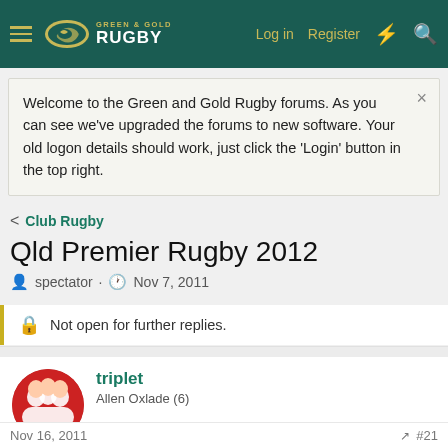Green & Gold Rugby — Log in | Register
Welcome to the Green and Gold Rugby forums. As you can see we've upgraded the forums to new software. Your old logon details should work, just click the 'Login' button in the top right.
Club Rugby
Qld Premier Rugby 2012
spectator · Nov 7, 2011
Not open for further replies.
triplet
Allen Oxlade (6)
Nov 16, 2011  #21